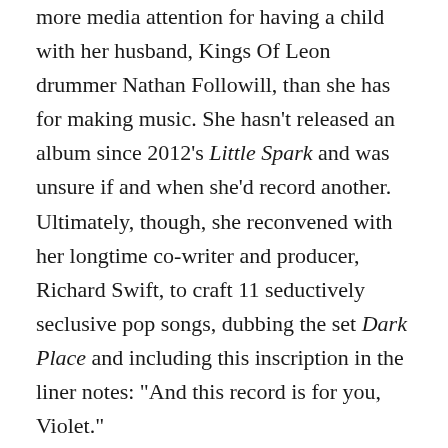more media attention for having a child with her husband, Kings Of Leon drummer Nathan Followill, than she has for making music. She hasn't released an album since 2012's Little Spark and was unsure if and when she'd record another. Ultimately, though, she reconvened with her longtime co-writer and producer, Richard Swift, to craft 11 seductively seclusive pop songs, dubbing the set Dark Place and including this inscription in the liner notes: "And this record is for you, Violet."
Dedicating such a somberly named project to her toddler daughter might at first seem like a perverse gesture, akin to reading The Bell Jar in a kindergarten classroom. But the album's title track — the first song Baylin ever wrote for her young progeny — conveys the true character of this expressive act: stunningly thoughtful tenderness. It's an